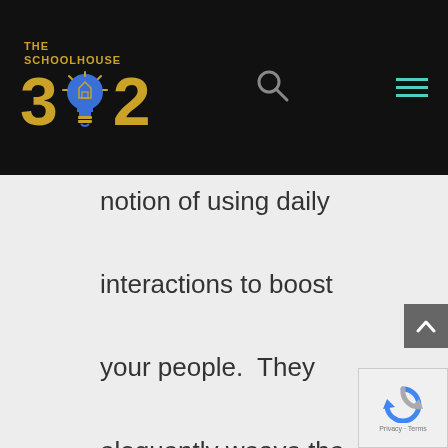[Figure (logo): The Schoolhouse 302 logo with lightbulb replacing the 0 in 302, gold text on black background]
notion of using daily interactions to boost your people.  They eloquently weave the work of Daniel Kahnemann and John Gottman together, basically acknowledging the